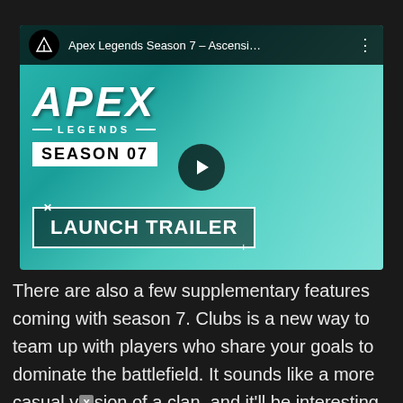[Figure (screenshot): YouTube video thumbnail for 'Apex Legends Season 7 – Ascensi...' showing the Season 07 Launch Trailer with a female character and Apex Legends branding on a teal/cyan background. Includes a play button in the center.]
There are also a few supplementary features coming with season 7. Clubs is a new way to team up with players who share your goals to dominate the battlefield. It sounds like a more casual version of a clan, and it'll be interesting to see how it's implemented. Finally, there's the much anticipated